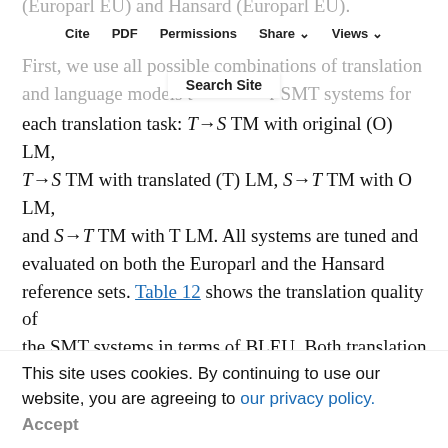Cite  PDF  Permissions  Share  Views
First, we use all possible combinations of translation and language models to build our SMT systems for each translation task: T→S TM with original (O) LM, T→S TM with translated (T) LM, S→T TM with O LM, and S→T TM with T LM. All systems are tuned and evaluated on both the Europarl and the Hansard reference sets. Table 12 shows the translation quality of the SMT systems in terms of BLEU. Both translation and language models contribute to the translation quality, but it seems that the contribution of the translation model is more significant. Even in the case of the Hansard reference set, in the English-to-French translation task, the S→T TM (compiled from Europarl texts) adds 1.2 BLEU points, and the T LM (compiled from Hansard texts) adds only 0.46 BLEU points.
Search Site
This site uses cookies. By continuing to use our website, you are agreeing to our privacy policy. Accept